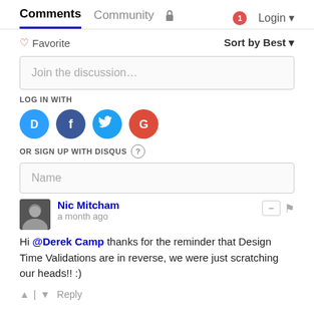Comments  Community  Login
♡ Favorite   Sort by Best
Join the discussion…
LOG IN WITH
[Figure (illustration): Four social login buttons: Disqus (blue speech bubble with D), Facebook (dark blue circle with f), Twitter (light blue circle with bird), Google (red circle with G)]
OR SIGN UP WITH DISQUS ?
Name
Nic Mitcham
a month ago
Hi @Derek Camp thanks for the reminder that Design Time Validations are in reverse, we were just scratching our heads!! :)
↑ | ↓  Reply